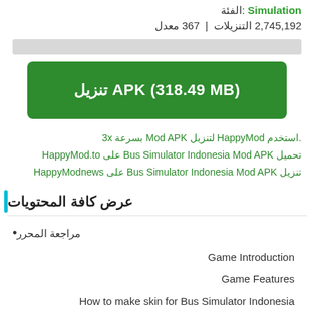الفئة: Simulation
2,745,192 التنزيلات | 367 معدل
[Figure (other): Gray progress/loading bar]
تنزيل APK (318.49 MB)
استخدم HappyMod لتنزيل Mod APK بسرعة 3x. تحميل Bus Simulator Indonesia Mod APK على HappyMod.to تنزيل Bus Simulator Indonesia Mod APK على HappyModnews
عرض كافة المحتويات
• مراجعة المحرر
Game Introduction
Game Features
How to make skin for Bus Simulator Indonesia
Game Review
About Bus Simulator Indonesia Mod